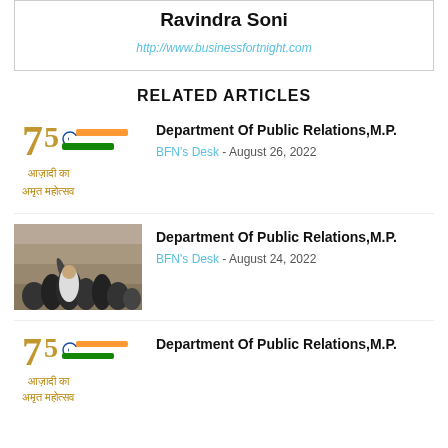Ravindra Soni
http://www.businessfortnight.com
RELATED ARTICLES
[Figure (illustration): Azadi Ka Amrit Mahotsav logo with Indian flag colors and Hindi text]
Department Of Public Relations,M.P.
BFN's Desk - August 26, 2022
[Figure (photo): Crowd of people with someone raising hand, outdoor scene]
Department Of Public Relations,M.P.
BFN's Desk - August 24, 2022
[Figure (illustration): Azadi Ka Amrit Mahotsav logo with Indian flag colors and Hindi text]
Department Of Public Relations,M.P.